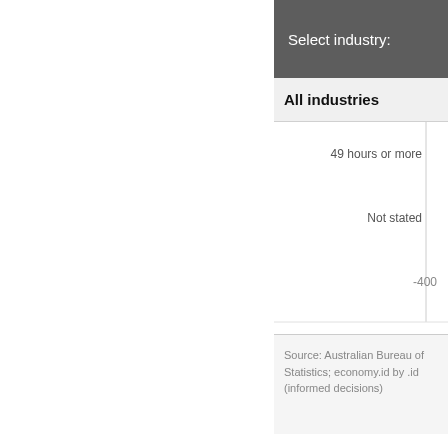Select industry:
All industries
[Figure (other): Partial bar chart showing hours worked categories including '49 hours or more', 'Not stated', and value '-400' on x-axis. Vertical divider line visible. Chart is cropped.]
Source: Australian Bureau of Statistics; economy.id by .id (informed decisions)
Dominant groups
Analysis of the hours worked by that there was a higher proporti people worked full-time (35 hou
Overall, 26.0% of the resident w time (35 hours or more), compa
The major differences between